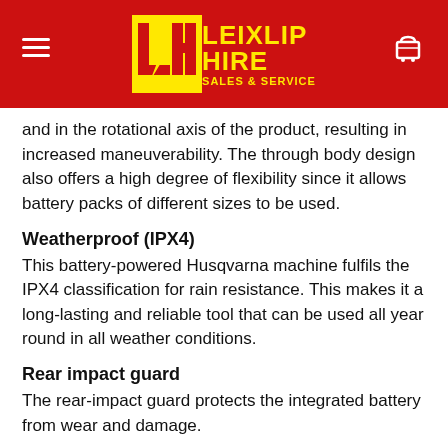Leixlip Hire Sales & Service
and in the rotational axis of the product, resulting in increased maneuverability. The through body design also offers a high degree of flexibility since it allows battery packs of different sizes to be used.
Weatherproof (IPX4)
This battery-powered Husqvarna machine fulfils the IPX4 classification for rain resistance. This makes it a long-lasting and reliable tool that can be used all year round in all weather conditions.
Rear impact guard
The rear-impact guard protects the integrated battery from wear and damage.
savE